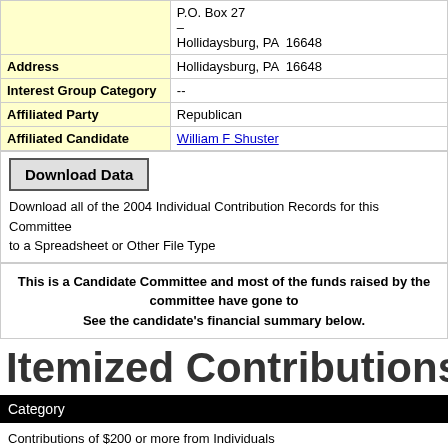|  |  |
| --- | --- |
|  | P.O. Box 27
–
Hollidaysburg, PA  16648 |
| Address | Hollidaysburg, PA  16648 |
| Interest Group Category | -- |
| Affiliated Party | Republican |
| Affiliated Candidate | William F Shuster |
Download Data
Download all of the 2004 Individual Contribution Records for this Committee to a Spreadsheet or Other File Type
This is a Candidate Committee and most of the funds raised by the committee have gone to See the candidate's financial summary below.
Itemized Contributions for William
| Category |
| --- |
| Contributions of $200 or more from Individuals |
| Contributions From Political Action Committees |
| Contributions From Indian Tribes |
| Candidate (self-funded) |
Top 100 Donations/Contributions in the 2004 Election C